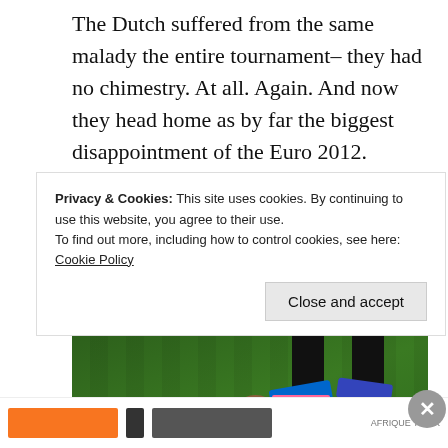The Dutch suffered from the same malady the entire tournament– they had no chimestry. At all. Again. And now they head home as by far the biggest disappointment of the Euro 2012.
[Figure (photo): A Dutch footballer wearing a black and orange jersey with number 20 walks with head down on a grass football pitch. Another player's legs and blue/pink shoes are visible in the background.]
Privacy & Cookies: This site uses cookies. By continuing to use this website, you agree to their use.
To find out more, including how to control cookies, see here: Cookie Policy
Close and accept